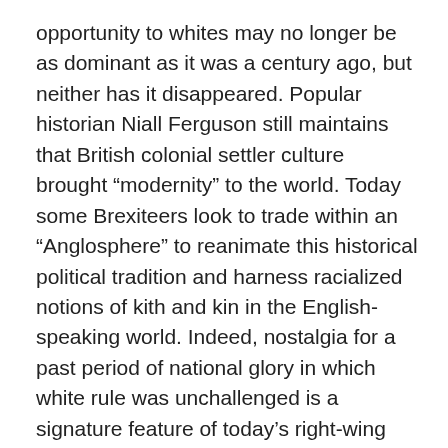opportunity to whites may no longer be as dominant as it was a century ago, but neither has it disappeared. Popular historian Niall Ferguson still maintains that British colonial settler culture brought “modernity” to the world. Today some Brexiteers look to trade within an “Anglosphere” to reanimate this historical political tradition and harness racialized notions of kith and kin in the English-speaking world. Indeed, nostalgia for a past period of national glory in which white rule was unchallenged is a signature feature of today’s right-wing populists who seek to make their nations great again.
Any account of white nationalism’s influence today must take account of this longer history and also recognize that profound and persistent structures of white supremacy remain deeply rooted in the English-speaking world. To